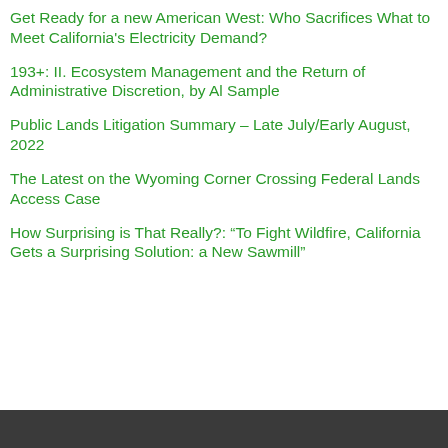Get Ready for a new American West: Who Sacrifices What to Meet California's Electricity Demand?
193+: II. Ecosystem Management and the Return of Administrative Discretion, by Al Sample
Public Lands Litigation Summary – Late July/Early August, 2022
The Latest on the Wyoming Corner Crossing Federal Lands Access Case
How Surprising is That Really?: “To Fight Wildfire, California Gets a Surprising Solution: a New Sawmill”